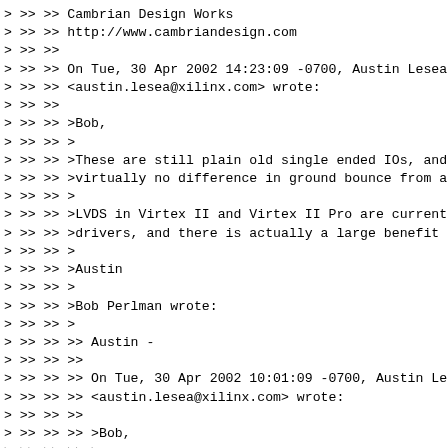> >> >> Cambrian Design Works
> >> >> http://www.cambriandesign.com
> >> >>
> >> >> On Tue, 30 Apr 2002 14:23:09 -0700, Austin Lesea
> >> >> <austin.lesea@xilinx.com> wrote:
> >> >>
> >> >> >Bob,
> >> >> >
> >> >> >These are still plain old single ended IOs, and
> >> >> >virtually no difference in ground bounce from a
> >> >> >
> >> >> >LVDS in Virtex II and Virtex II Pro are current
> >> >> >drivers, and there is actually a large benefit t
> >> >> >
> >> >> >Austin
> >> >> >
> >> >> >Bob Perlman wrote:
> >> >> >
> >> >> >> Austin -
> >> >> >>
> >> >> >> On Tue, 30 Apr 2002 10:01:09 -0700, Austin Les
> >> >> >> <austin.lesea@xilinx.com> wrote:
> >> >> >>
> >> >> >> >Bob,
> >> >> >> >
> >> >> >> >Spartan 2 uses external resistor networks to
> >> >> >> >is no benefit from differential switching as
> >> >> >> >single ended IO is already switching rail to
> >> >> >> >even though some of the current flows out co
> >> >> >> >lot of current is flowing through power and g